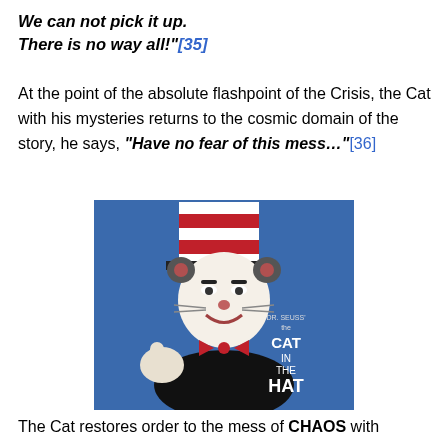We can not pick it up.
There is no way all!"[35]
At the point of the absolute flashpoint of the Crisis, the Cat with his mysteries returns to the cosmic domain of the story, he says, "Have no fear of this mess…"[36]
[Figure (photo): Movie poster photo of the Cat in the Hat character — a person in cat costume wearing a tall red and white striped hat, white face makeup, black tuxedo with red bow tie, giving a thumbs up gesture. Blue background. Text on right reads 'THE CAT IN THE HAT'.]
The Cat restores order to the mess of CHAOS with